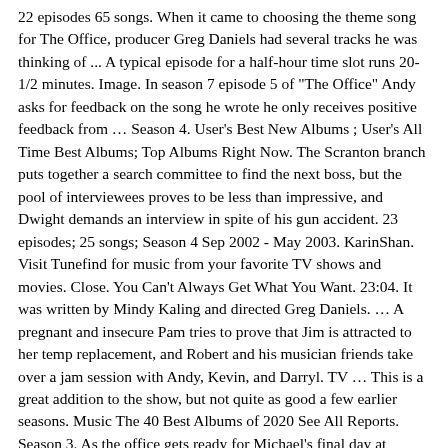22 episodes 65 songs. When it came to choosing the theme song for The Office, producer Greg Daniels had several tracks he was thinking of ... A typical episode for a half-hour time slot runs 20-1/2 minutes. Image. In season 7 episode 5 of "The Office" Andy asks for feedback on the song he wrote he only receives positive feedback from … Season 4. User's Best New Albums ; User's All Time Best Albums; Top Albums Right Now. The Scranton branch puts together a search committee to find the next boss, but the pool of interviewees proves to be less than impressive, and Dwight demands an interview in spite of his gun accident. 23 episodes; 25 songs; Season 4 Sep 2002 - May 2003. KarinShan. Visit Tunefind for music from your favorite TV shows and movies. Close. You Can't Always Get What You Want. 23:04. It was written by Mindy Kaling and directed Greg Daniels. … A pregnant and insecure Pam tries to prove that Jim is attracted to her temp replacement, and Robert and his musician friends take over a jam session with Andy, Kevin, and Darryl. TV … This is a great addition to the show, but not quite as good a few earlier seasons. Music The 40 Best Albums of 2020 See All Reports. Season 3. As the office gets ready for Michael's final day at Dunder Mifflin, Michael doesn't tell anyone that he's leaving a day early. Howlin' for You. It was viewed by 8.52 million people. Watch The Office Season 7 Episode 1 online via TV Fanatic with over 7 options to watch the The Office S7E1 full episode. 22 episodes; 14 songs; advertisement. Watch The Office Season 7 Episode 1 "Nepotism" Original Air Date: September 23, 2010. Season 3. By Adam Swan. The season also...